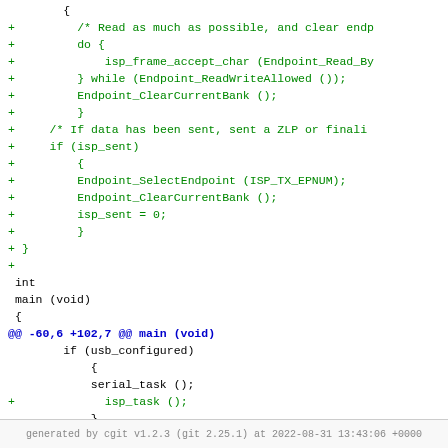[Figure (other): Code diff showing git patch with added lines in green for isp_frame_accept_char, Endpoint functions, and isp_task() call in main function]
generated by cgit v1.2.3 (git 2.25.1) at 2022-08-31 13:43:06 +0000